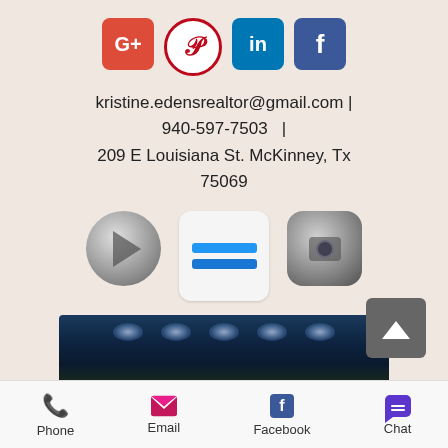[Figure (screenshot): Social media icons row: Google+, Pinterest, LinkedIn, Facebook]
kristine.edensrealtor@gmail.com | 940-597-7503 | 209 E Louisiana St. McKinney, Tx 75069
[Figure (screenshot): Three app icon thumbnails: a video play button circle, a blurred app icon square with blue bars, and a blurred camera-style rounded square]
[Figure (photo): Dark blue banner image with blurred stadium lights]
[Figure (screenshot): Back to top button with upward chevron]
[Figure (screenshot): Bottom navigation bar with Phone, Email, Facebook, Chat icons and labels]